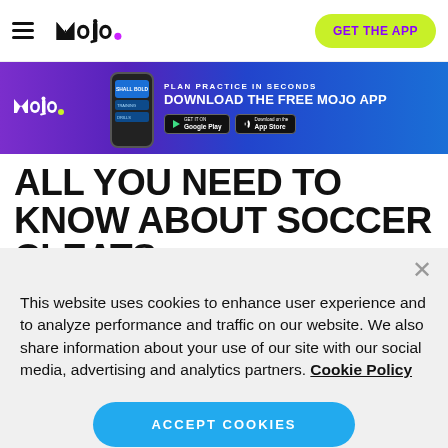MOJO — GET THE APP
[Figure (screenshot): Mojo app promotional banner: purple/blue gradient background with Mojo logo, phone image, text 'PLAN PRACTICE IN SECONDS / DOWNLOAD THE FREE MOJO APP' with Google Play and App Store badges]
ALL YOU NEED TO KNOW ABOUT SOCCER CLEATS
This website uses cookies to enhance user experience and to analyze performance and traffic on our website. We also share information about your use of our site with our social media, advertising and analytics partners. Cookie Policy
ACCEPT COOKIES